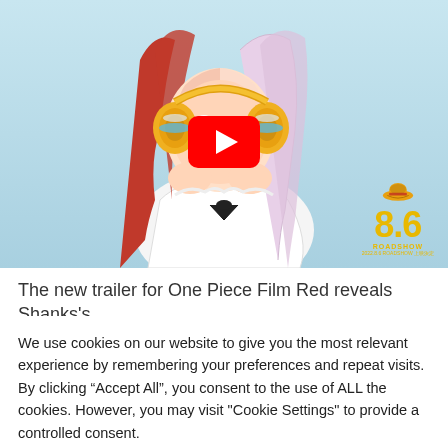[Figure (screenshot): YouTube video thumbnail for ONE PIECE FILM RED Teaser trailer, showing anime character with red and white hair holding headphones, YouTube play button overlay, ONE PIECE FILM RED logo top right, 8.6 ROADSHOW badge bottom right]
The new trailer for One Piece Film Red reveals Shanks's
We use cookies on our website to give you the most relevant experience by remembering your preferences and repeat visits. By clicking “Accept All”, you consent to the use of ALL the cookies. However, you may visit "Cookie Settings" to provide a controlled consent.
Cookie Settings
Accept All